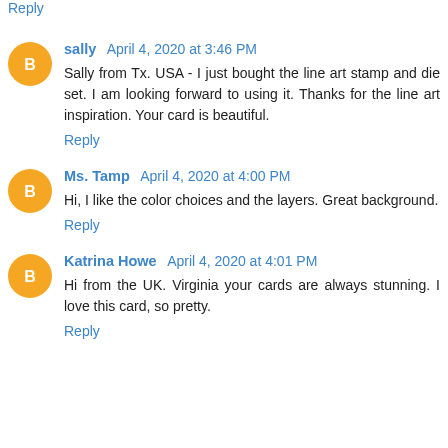Reply
sally April 4, 2020 at 3:46 PM
Sally from Tx. USA - I just bought the line art stamp and die set. I am looking forward to using it. Thanks for the line art inspiration. Your card is beautiful.
Reply
Ms. Tamp April 4, 2020 at 4:00 PM
Hi, I like the color choices and the layers. Great background.
Reply
Katrina Howe April 4, 2020 at 4:01 PM
Hi from the UK. Virginia your cards are always stunning. I love this card, so pretty.
Reply